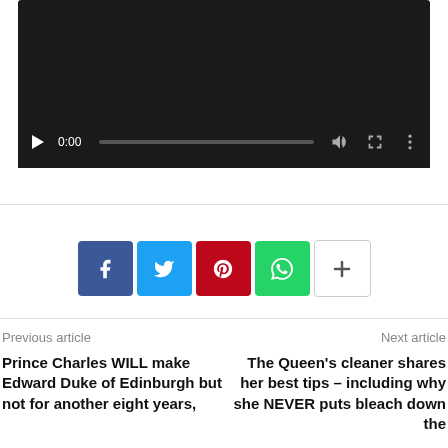[Figure (screenshot): Video player with dark background showing playback controls: play button, time display 0:00, progress bar, volume icon, fullscreen icon, and more options icon]
[Figure (infographic): Row of social sharing buttons: Facebook (blue, 'f'), Twitter (light blue, bird), Pinterest (red, 'p'), WhatsApp (green, phone), and a white '+' more button]
Previous article
Next article
Prince Charles WILL make Edward Duke of Edinburgh but not for another eight years,
The Queen's cleaner shares her best tips – including why she NEVER puts bleach down the